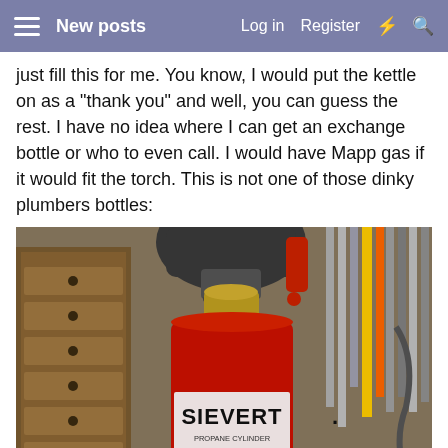New posts  Log in  Register
just fill this for me. You know, I would put the kettle on as a "thank you" and well, you can guess the rest. I have no idea where I can get an exchange bottle or who to even call. I would have Mapp gas if it would fit the torch. This is not one of those dinky plumbers bottles:
[Figure (photo): A Sievert propane gas cylinder (red canister) with a torch head attached, sitting in a workshop environment with wooden tool drawers and various tools visible in the background. The label on the canister reads 'SIEVERT' and 'PROPANE CYLINDER, SOLDERING'.]